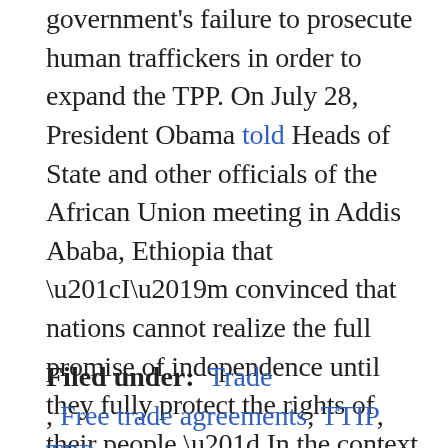government's failure to prosecute human traffickers in order to expand the TPP. On July 28, President Obama told Heads of State and other officials of the African Union meeting in Addis Ababa, Ethiopia that “I’m convinced that nations cannot realize the full promise of independence until they fully protect the rights of their people.” In the context of remarks on an imperfect United States, he later replied, “when we fall short of our ideals, we strive to do better.”
Filed under: Trade , Free trade agreements, TTIP, TPP